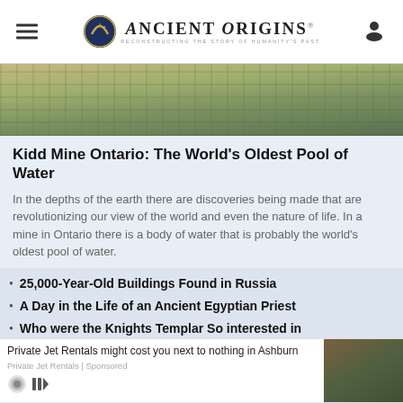Ancient Origins — Reconstructing the Story of Humanity's Past
[Figure (photo): Aerial photograph of an open-pit mine in Ontario, showing excavated terrain, industrial structures, and surrounding landscape.]
Kidd Mine Ontario: The World's Oldest Pool of Water
In the depths of the earth there are discoveries being made that are revolutionizing our view of the world and even the nature of life. In a mine in Ontario there is a body of water that is probably the world's oldest pool of water.
25,000-Year-Old Buildings Found in Russia
A Day in the Life of an Ancient Egyptian Priest
Who were the Knights Templar So interested in
Private Jet Rentals might cost you next to nothing in Ashburn
Private Jet Rentals | Sponsored
Adam's Calendar: Oldest Megalithic Site in the World?